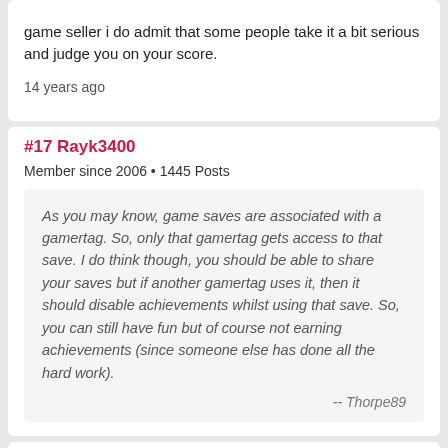game seller i do admit that some people take it a bit serious and judge you on your score.
14 years ago
#17 Rayk3400
Member since 2006 • 1445 Posts
As you may know, game saves are associated with a gamertag. So, only that gamertag gets access to that save. I do think though, you should be able to share your saves but if another gamertag uses it, then it should disable achievements whilst using that save. So, you can still have fun but of course not earning achievements (since someone else has done all the hard work).
-- Thorpe89
If I recover my gamertag will I get my gamesaves, might be off topic but a really need help.